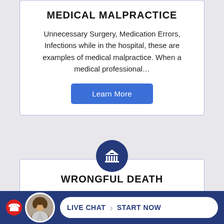MEDICAL MALPRACTICE
Unnecessary Surgery, Medication Errors, Infections while in the hospital, these are examples of medical malpractice. When a medical professional…
Learn More
[Figure (illustration): Dark blue circle icon with a courthouse/pillars symbol in white]
WRONGFUL DEATH
A wrongful death case involves a family member who was killed because of the…
[Figure (illustration): Bottom bar with red badge, circular avatar of a man, and live chat pill button reading LIVE CHAT > START NOW]